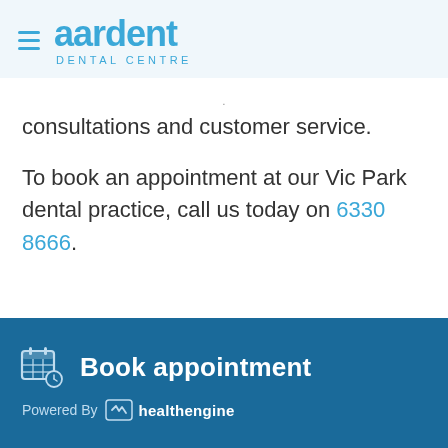[Figure (logo): Aardent Dental Centre logo with hamburger menu icon on the left]
consultations and customer service.
To book an appointment at our Vic Park dental practice, call us today on 6330 8666.
Book appointment · Powered By healthengine